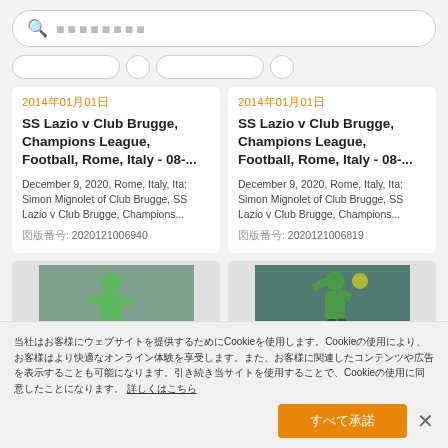（search bar with placeholder squares）
2014年01月01日
SS Lazio v Club Brugge, Champions League, Football, Rome, Italy - 08-...
December 9, 2020, Rome, Italy, Ita: Simon Mignolet of Club Brugge, SS Lazio v Club Brugge, Champions...
図版番号: 2020121006940
2014年01月01日
SS Lazio v Club Brugge, Champions League, Football, Rome, Italy - 08-...
December 9, 2020, Rome, Italy, Ita: Simon Mignolet of Club Brugge, SS Lazio v Club Brugge, Champions...
図版番号: 2020121006819
[Figure (photo): Sports photo - goalkeeper in green kit]
[Figure (photo): Sports photo - goalkeeper catching ball]
当社はお客様にウェブサイトを提供するためにCookieを使用します。Cookieの使用により、お客様はより快適なオンライン体験を享受します。また、お客様に関連したコンテンツや広告を表示することも可能になります。引き続き当サイトを使用することで、Cookieの使用に同意したことになります。 詳しくはこちら
すべて承諾